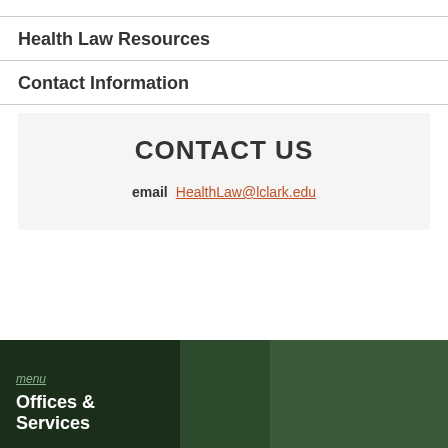Health Law Resources
Contact Information
CONTACT US
email HealthLaw@lclark.edu
menu
Offices & Services